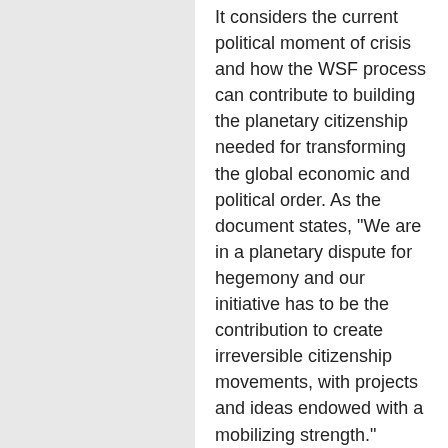It considers the current political moment of crisis and how the WSF process can contribute to building the planetary citizenship needed for transforming the global economic and political order. As the document states, "We are in a planetary dispute for hegemony and our initiative has to be the contribution to create irreversible citizenship movements, with projects and ideas endowed with a mobilizing strength."
Is the World Social Forum of use for popular struggles? Are the social forum formulas adequate to that effect? [external link] by Samir Amin
"Mobilizing against the crisis, mobilizing for “another democracy”: comparing two global waves of protest" [doc icon] Donatella della Porta, Interface Journal (2012).
"Connecting social movements and political...